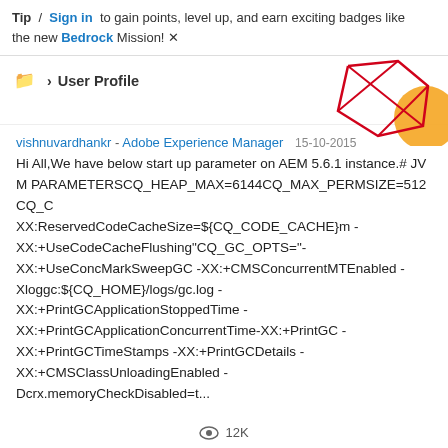Tip / Sign in to gain points, level up, and earn exciting badges like the new Bedrock Mission! ×
📁 > User Profile
[Figure (illustration): Decorative geometric red line polygon and orange circle shape in top right corner]
vishnuvardhankr - Adobe Experience Manager  15-10-2015
Hi All,We have below start up parameter on AEM 5.6.1 instance.# JVM PARAMETERSCQ_HEAP_MAX=6144CQ_MAX_PERMSIZE=512CQ_C XX:ReservedCodeCacheSize=${CQ_CODE_CACHE}m -XX:+UseCodeCacheFlushing"CQ_GC_OPTS="-XX:+UseConcMarkSweepGC -XX:+CMSConcurrentMTEnabled -Xloggc:${CQ_HOME}/logs/gc.log -XX:+PrintGCApplicationStoppedTime -XX:+PrintGCApplicationConcurrentTime-XX:+PrintGC -XX:+PrintGCTimeStamps -XX:+PrintGCDetails -XX:+CMSClassUnloadingEnabled -Dcrx.memoryCheckDisabled=t...
👁 12K